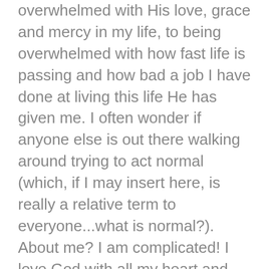overwhelmed with His love, grace and mercy in my life, to being overwhelmed with how fast life is passing and how bad a job I have done at living this life He has given me. I often wonder if anyone else is out there walking around trying to act normal (which, if I may insert here, is really a relative term to everyone...what is normal?). About me? I am complicated! I love God with all my heart and want to serve Him with all my heart and want to do something important with all my heart and yet, this life I live everyday, doesn't seem to line up with that. More than anything - I want to be a published writer. I want to have the time to go to places that are surrounded by the